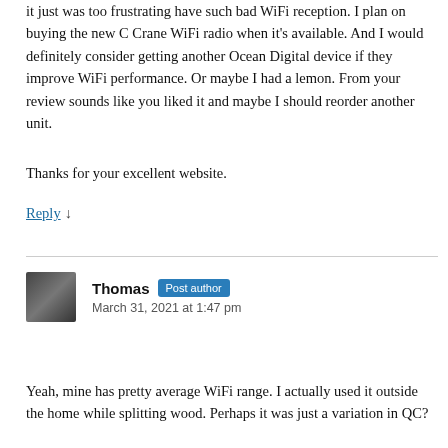it just was too frustrating have such bad WiFi reception. I plan on buying the new C Crane WiFi radio when it's available. And I would definitely consider getting another Ocean Digital device if they improve WiFi performance. Or maybe I had a lemon. From your review sounds like you liked it and maybe I should reorder another unit.
Thanks for your excellent website.
Reply ↓
Thomas Post author
March 31, 2021 at 1:47 pm
Yeah, mine has pretty average WiFi range. I actually used it outside the home while splitting wood. Perhaps it was just a variation in QC?